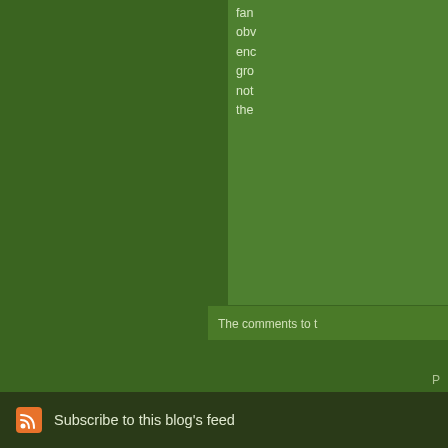fan obviously enc gro not the
The comments to t
P
Bearing false witn yesterday's decisio Church's Judicial C
Subscribe to this blog's feed